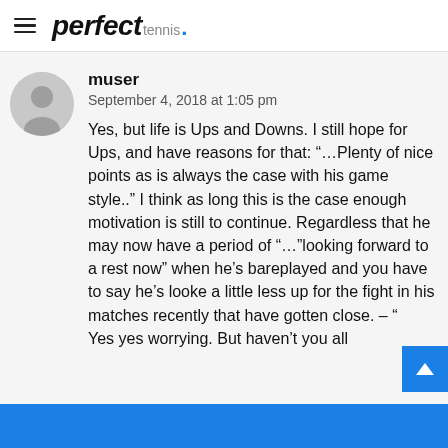perfect tennis.
muser
September 4, 2018 at 1:05 pm

Yes, but life is Ups and Downs. I still hope for Ups, and have reasons for that: “…Plenty of nice points as is always the case with his game style..” I think as long this is the case enough motivation is still to continue. Regardless that he may now have a period of “…”looking forward to a rest now” when he’s barely played and you have to say he’s looked a little less up for the fight in his matches recently that have gotten close. – “
Yes yes worrying. But haven’t you all